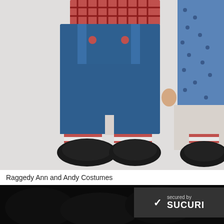[Figure (photo): Close-up photo of two children in Raggedy Ann and Andy costumes from the waist down, showing blue overalls, red and white striped socks, and black shoes on a white background. A partial view of a dress with blue dots is visible on the right side.]
Raggedy Ann and Andy Costumes
[Figure (photo): Bottom strip of a dark/black photo, partially visible, showing indistinct dark shapes.]
[Figure (other): Sucuri security badge overlay: dark background with a checkmark icon, text 'secured by' and 'SUCURI' in white.]